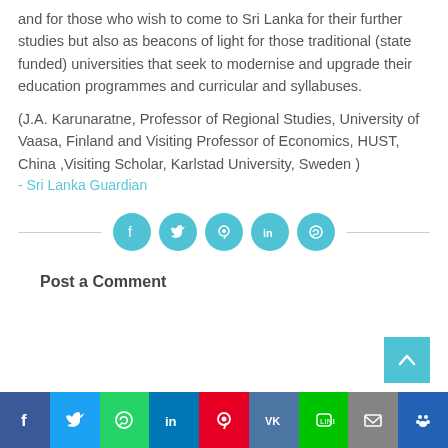and for those who wish to come to Sri Lanka for their further studies but also as beacons of light for those traditional (state funded) universities that seek to modernise and upgrade their education programmes and curricular and syllabuses.
(J.A. Karunaratne, Professor of Regional Studies, University of Vaasa, Finland and Visiting Professor of Economics, HUST, China ,Visiting Scholar, Karlstad University, Sweden )
- Sri Lanka Guardian
[Figure (infographic): Social media sharing icons row: Facebook, Twitter, Pinterest, LinkedIn, WhatsApp — cyan circles with white icons, flanked by horizontal divider lines]
Post a Comment
[Figure (infographic): Back to top button — cyan square with white up-arrow chevron]
[Figure (infographic): Bottom social sharing bar with icons: Facebook (blue), Twitter (light blue), WhatsApp (green), LinkedIn (dark blue-green), Pinterest (red), VKontakte (dark grey-blue), LINE (green), Email (grey), Paws/more (blue)]